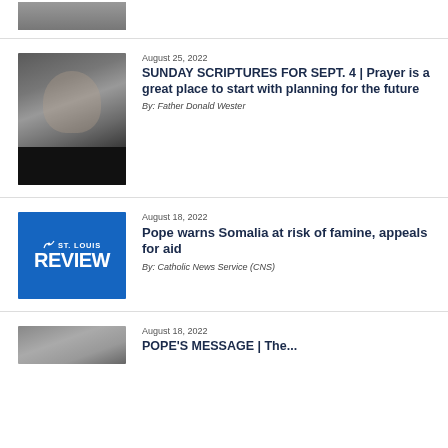[Figure (photo): Cropped top portion of a person photo, partially visible at top of page]
[Figure (photo): Portrait photo of a priest (Father Donald Wester) in black clerical attire]
August 25, 2022
SUNDAY SCRIPTURES FOR SEPT. 4 | Prayer is a great place to start with planning for the future
By: Father Donald Wester
[Figure (logo): St. Louis Review logo — blue square with white text showing a horse/wolf icon, 'ST. LOUIS' and 'REVIEW']
August 18, 2022
Pope warns Somalia at risk of famine, appeals for aid
By: Catholic News Service (CNS)
[Figure (photo): Partially visible person photo at bottom of page, cropped]
August 18, 2022
POPE'S MESSAGE | The...